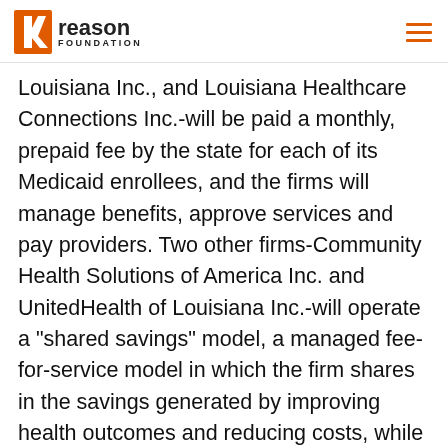Reason Foundation
Louisiana Inc., and Louisiana Healthcare Connections Inc.-will be paid a monthly, prepaid fee by the state for each of its Medicaid enrollees, and the firms will manage benefits, approve services and pay providers. Two other firms-Community Health Solutions of America Inc. and UnitedHealth of Louisiana Inc.-will operate a “shared savings” model, a managed fee-for-service model in which the firm shares in the savings generated by improving health outcomes and reducing costs, while continuing to pay providers on a fee-for-service basis.
Eligible Medicaid recipients will choose from one of